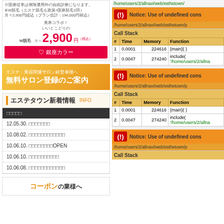[Figure (illustration): Ginza Color hair removal advertisement banner with Japanese text showing monthly price of 2,900 yen and red branding]
[Figure (illustration): Orange gradient salon registration banner with Japanese text]
エステタウン新着情報 INFO
□□□□□
12.05.30. □□□□□□□
10.08.02. □□□□□□□□□□□□
10.06.10. □□□□□□□□OPEN
10.06.10. □□□□□□□□□□
10.06.08. □□□□□□□□□□□□
[Figure (screenshot): PHP Notice error: Use of undefined constant, with path /home/users/2/allnavi/web/esthetown/p and Call Stack table showing two entries]
[Figure (screenshot): Second PHP Notice error: Use of undefined constant, with path /home/users/2/allnavi/web/esthetown/p and Call Stack table showing two entries]
[Figure (screenshot): Third PHP Notice error: Use of undefined constant, with path /home/users/2/allnavi/web/esthetown/p]